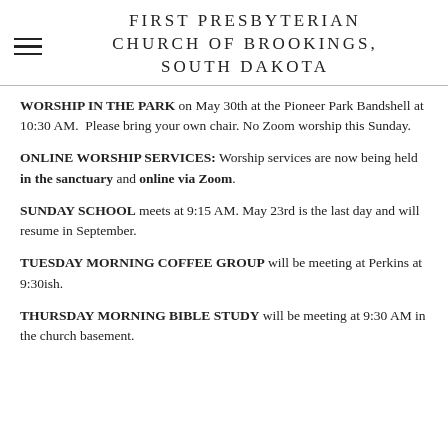FIRST PRESBYTERIAN CHURCH OF BROOKINGS, SOUTH DAKOTA
WORSHIP IN THE PARK on May 30th at the Pioneer Park Bandshell at 10:30 AM. Please bring your own chair. No Zoom worship this Sunday.
ONLINE WORSHIP SERVICES: Worship services are now being held in the sanctuary and online via Zoom.
SUNDAY SCHOOL meets at 9:15 AM. May 23rd is the last day and will resume in September.
TUESDAY MORNING COFFEE GROUP will be meeting at Perkins at 9:30ish.
THURSDAY MORNING BIBLE STUDY will be meeting at 9:30 AM in the church basement.